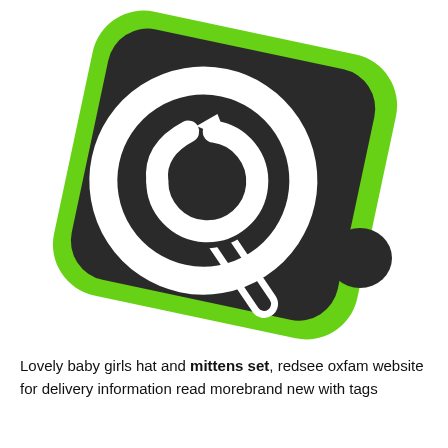[Figure (logo): A blurred logo icon showing a magnifying glass with a stylized person/face inside the lens, on a dark rounded-rectangle background with a bright green border/shadow effect. A dark circle appears at the lower right corner of the green shape. The icon is rotated slightly clockwise.]
Lovely baby girls hat and mittens set, redsee oxfam website for delivery information read morebrand new with tags